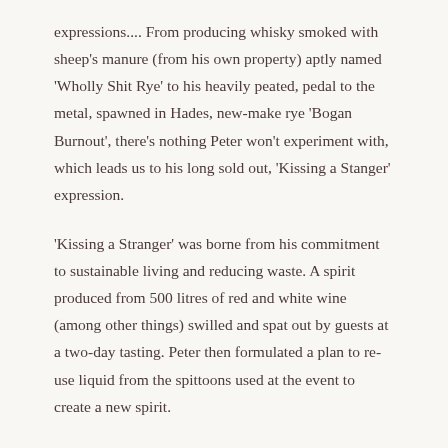expressions.... From producing whisky smoked with sheep's manure (from his own property) aptly named 'Wholly Shit Rye' to his heavily peated, pedal to the metal, spawned in Hades, new-make rye 'Bogan Burnout', there's nothing Peter won't experiment with, which leads us to his long sold out, 'Kissing a Stanger' expression.
'Kissing a Stranger' was borne from his commitment to sustainable living and reducing waste. A spirit produced from 500 litres of red and white wine (among other things) swilled and spat out by guests at a two-day tasting. Peter then formulated a plan to re-use liquid from the spittoons used at the event to create a new spirit.
Peter told ABC radio in Hobart........ "I hate waste, absolutely hate waste. That bucket in the middle of the room with all the dregs of